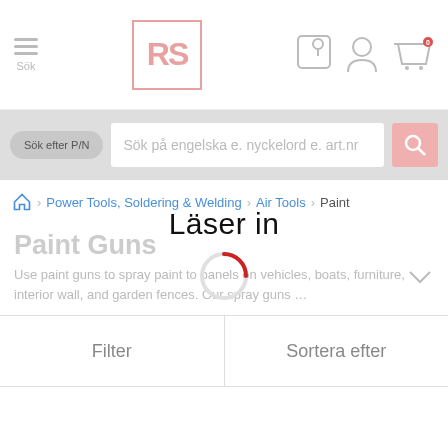[Figure (screenshot): RS Components mobile website header with hamburger menu, RS logo, and navigation icons (pin, user, cart)]
Sök
[Figure (screenshot): Search bar with 'Sök efter P/N' pill button, text input placeholder 'Sök på engelska e. nyckelord e. art.nr', and pink search icon]
Sök efter P/N
Sök på engelska e. nyckelord e. art.nr
Power Tools, Soldering & Welding > Air Tools > Paint
Paint Guns
Läser in
Use paint guns to spray paint to panels on vehicles, boats, furniture, interior wall, and garden fences. Our spray guns ...
Filter
Sortera efter